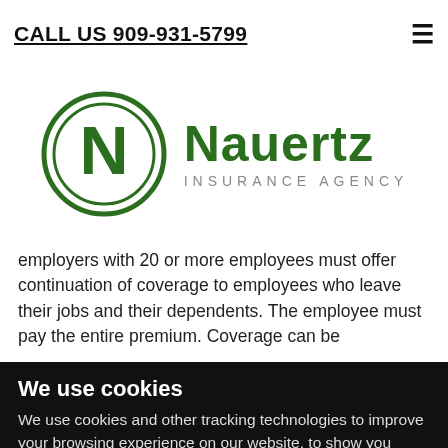CALL US 909-931-5799
[Figure (logo): Nauertz Insurance Agency logo — green circular N emblem with text 'Nauertz' in large green bold font and 'INSURANCE AGENCY' in smaller grey spaced caps]
employers with 20 or more employees must offer continuation of coverage to employees who leave their jobs and their dependents. The employee must pay the entire premium. Coverage can be
We use cookies
We use cookies and other tracking technologies to improve your browsing experience on our website, to show you personalized content and targeted ads, to analyze our website traffic, and to understand where our visitors are coming from.